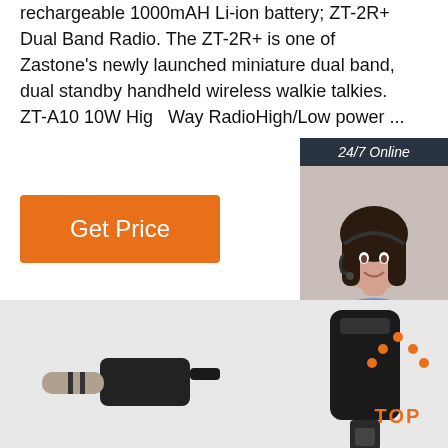rechargeable 1000mAH Li-ion battery; ZT-2R+ Dual Band Radio. The ZT-2R+ is one of Zastone's newly launched miniature dual band, dual standby handheld wireless walkie talkies. ZT-A10 10W High Way RadioHigh/Low power ...
[Figure (other): Orange 'Get Price' button]
[Figure (other): Chat widget with '24/7 Online' header, photo of woman with headset, 'Click here for free chat!' text, and orange QUOTATION button]
[Figure (photo): Bottom portion showing electronic components - audio jack connector and a clip-on device, both in black]
[Figure (other): Orange TOP button with dotted triangle/arrow icon]